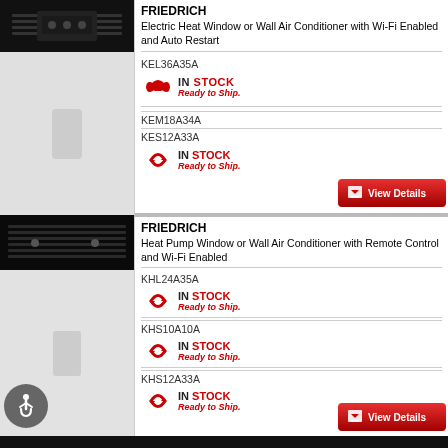[Figure (photo): Friedrich Electric Heat Window or Wall Air Conditioner product image, showing dark top panel and white/grey lower body]
FRIEDRICH
Electric Heat Window or Wall Air Conditioner with Wi-Fi Enabled and Auto Restart
KEL36A35A
[Figure (infographic): IN STOCK Ready to Ship. badge with red arrow]
KEM18A34A
KES12A33A
[Figure (infographic): IN STOCK Ready to Ship. badge with red arrow]
[Figure (infographic): View Details button]
[Figure (photo): Friedrich Heat Pump Window or Wall Air Conditioner product image, showing dark top panel and white/grey lower body]
FRIEDRICH
Heat Pump Window or Wall Air Conditioner with Remote Control and Wi-Fi Enabled
KHL24A35A
[Figure (infographic): IN STOCK Ready to Ship. badge with red arrow]
KHS10A10A
[Figure (infographic): IN STOCK Ready to Ship. badge with red arrow]
KHS12A33A
[Figure (infographic): IN STOCK Ready to Ship. badge with red arrow]
[Figure (infographic): View Details button]
[Figure (infographic): Accessibility icon (wheelchair symbol) in grey circle]